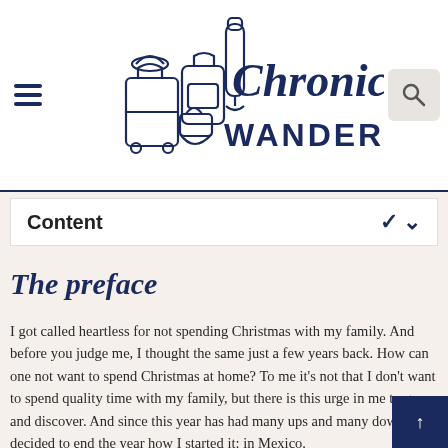Chronic Wanderlust
Content
The preface
I got called heartless for not spending Christmas with my family. And before you judge me, I thought the same just a few years back. How can one not want to spend Christmas at home? To me it's not that I don't want to spend quality time with my family, but there is this urge in me to go and discover. And since this year has had many ups and many downs I decided to end the year how I started it: in Mexico.
Spending Christmas abroad (again) doesn't mean I don't love my family. I do so deeply and they love me too. That's the reason why they said it was okay for them to let me spend yet another Christmas away from home. Now don't